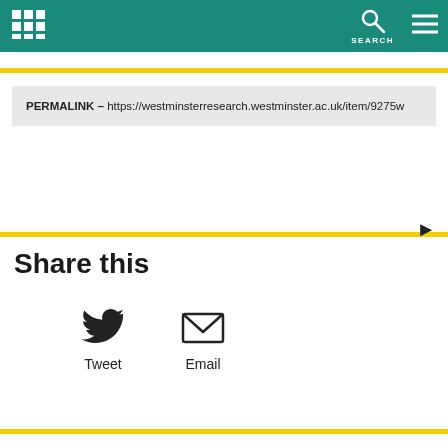University of Westminster – SEARCH
PERMALINK – https://westminsterresearch.westminster.ac.uk/item/9275w
Share this
Tweet   Email